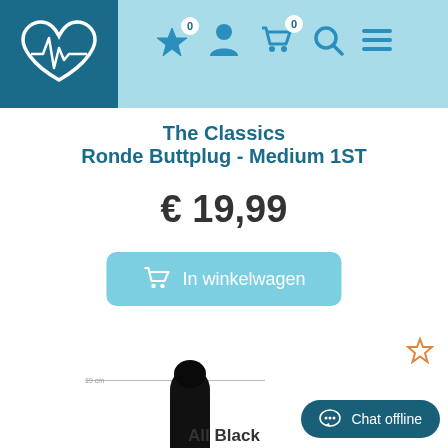Navigation header with logo, wishlist (0), account, cart (0), search, menu icons
The Classics
Ronde Buttplug - Medium 1ST
€ 19,99
In winkelwagen
[Figure (photo): Black dildo/sex toy product photo with measurement guide lines showing dimensions]
All Black